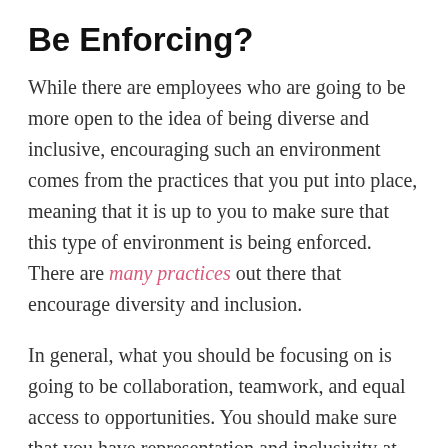Be Enforcing?
While there are employees who are going to be more open to the idea of being diverse and inclusive, encouraging such an environment comes from the practices that you put into place, meaning that it is up to you to make sure that this type of environment is being enforced. There are many practices out there that encourage diversity and inclusion.
In general, what you should be focusing on is going to be collaboration, teamwork, and equal access to opportunities. You should make sure that you have representation and inclusivity at all